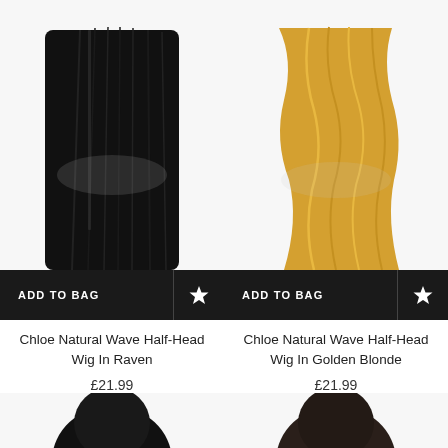[Figure (photo): Back view of a half-head wig with long straight black (raven) hair on a mannequin head, white background]
ADD TO BAG
Chloe Natural Wave Half-Head Wig In Raven
£21.99
[Figure (photo): Back view of a half-head wig with long wavy golden blonde hair on a mannequin head, white background]
ADD TO BAG
Chloe Natural Wave Half-Head Wig In Golden Blonde
£21.99
[Figure (photo): Partial top view of a half-head wig with dark/black hair on a mannequin head, partially cropped at bottom of page]
[Figure (photo): Partial top view of a half-head wig with dark brown hair on a mannequin head, partially cropped at bottom of page]